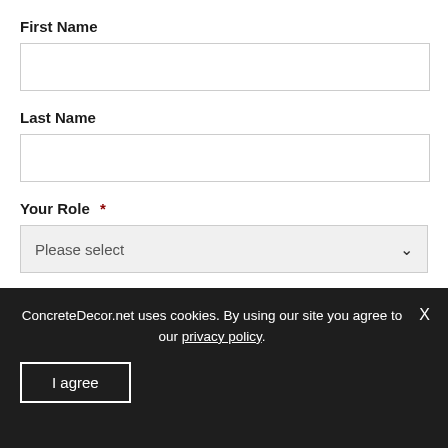First Name
Last Name
Your Role  *
Please select
How would you like us to respond?
Email  *
ConcreteDecor.net uses cookies. By using our site you agree to our privacy policy.
I agree